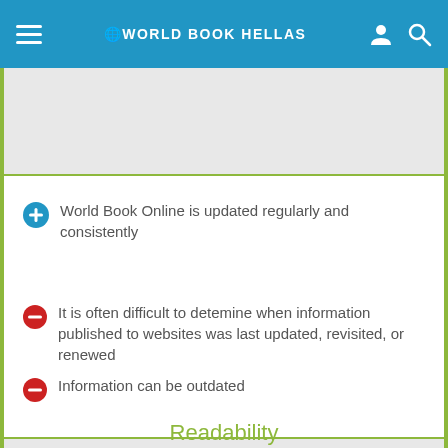WORLD BOOK HELLAS
World Book Online is updated regularly and consistently
It is often difficult to detemine when information published to websites was last updated, revisited, or renewed
Information can be outdated
Readability